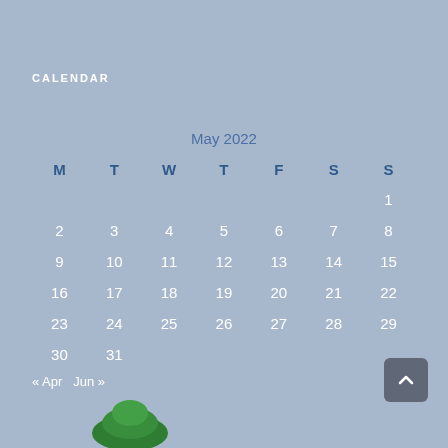CALENDAR
| M | T | W | T | F | S | S |
| --- | --- | --- | --- | --- | --- | --- |
|  |  |  |  |  |  | 1 |
| 2 | 3 | 4 | 5 | 6 | 7 | 8 |
| 9 | 10 | 11 | 12 | 13 | 14 | 15 |
| 16 | 17 | 18 | 19 | 20 | 21 | 22 |
| 23 | 24 | 25 | 26 | 27 | 28 | 29 |
| 30 | 31 |  |  |  |  |  |
« Apr  Jun »